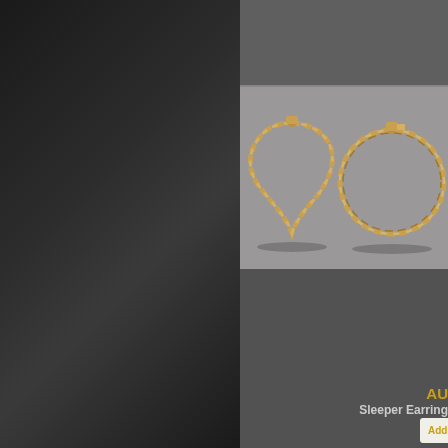[Figure (photo): Dark gradient left panel background, black to dark gray]
A...
[Figure (photo): Two twisted gold hoop sleeper earrings displayed on a gray surface]
AU
Sleeper Earring
Add to ca...
[Figure (photo): Partial view of another jewelry product at the bottom]